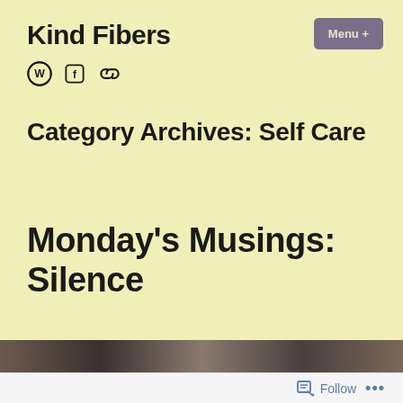Kind Fibers
[Figure (other): Menu + button (rounded rectangle, muted purple background)]
[Figure (other): WordPress circle icon, Facebook square icon, chain link icon — social/site icons row]
Category Archives: Self Care
Monday's Musings: Silence
[Figure (photo): Partial photo strip showing a dark indoor scene, dimly lit]
Follow ...